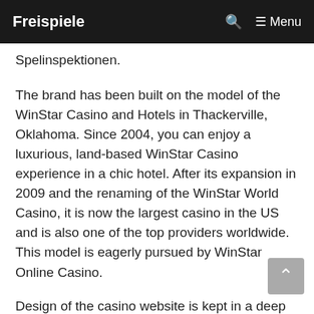Freispiele   Menu
Spelinspektionen.
The brand has been built on the model of the WinStar Casino and Hotels in Thackerville, Oklahoma. Since 2004, you can enjoy a luxurious, land-based WinStar Casino experience in a chic hotel. After its expansion in 2009 and the renaming of the WinStar World Casino, it is now the largest casino in the US and is also one of the top providers worldwide. This model is eagerly pursued by WinStar Online Casino.
Design of the casino website is kept in a deep blue-purple background and beautiful graphics,